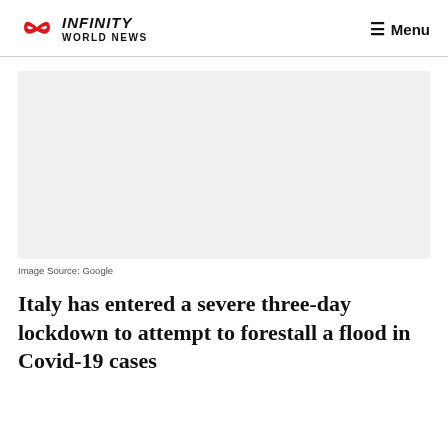INFINITY WORLD NEWS  Menu
[Figure (photo): Gray placeholder image area]
Image Source: Google
Italy has entered a severe three-day lockdown to attempt to forestall a flood in Covid-19 cases